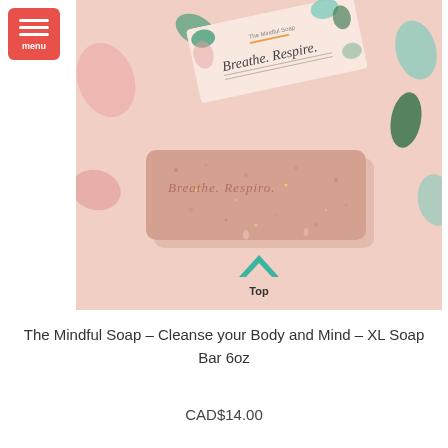[Figure (photo): Product photo showing The Mindful Soap 'Breathe. Respire.' bar of soap and its packaging box on a pink background, with a green chevron/up-arrow and 'Top' label at the bottom of the image.]
The Mindful Soap – Cleanse your Body and Mind – XL Soap Bar 6oz
CAD$14.00